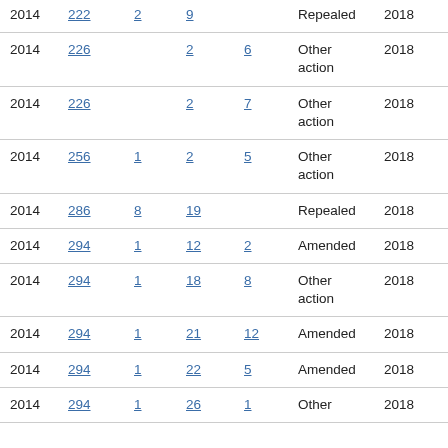| Year | Bill | Col3 | Col4 | Col5 | Action | Year2 |
| --- | --- | --- | --- | --- | --- | --- |
| 2014 | 222 | 2 | 9 |  | Repealed | 2018 |
| 2014 | 226 |  | 2 | 6 | Other action | 2018 |
| 2014 | 226 |  | 2 | 7 | Other action | 2018 |
| 2014 | 256 | 1 | 2 | 5 | Other action | 2018 |
| 2014 | 286 | 8 | 19 |  | Repealed | 2018 |
| 2014 | 294 | 1 | 12 | 2 | Amended | 2018 |
| 2014 | 294 | 1 | 18 | 8 | Other action | 2018 |
| 2014 | 294 | 1 | 21 | 12 | Amended | 2018 |
| 2014 | 294 | 1 | 22 | 5 | Amended | 2018 |
| 2014 | 294 | 1 | 26 | 1 | Other | 2018 |